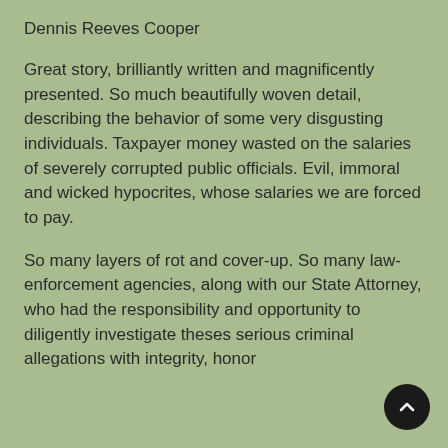Dennis Reeves Cooper
Great story, brilliantly written and magnificently presented. So much beautifully woven detail, describing the behavior of some very disgusting individuals. Taxpayer money wasted on the salaries of severely corrupted public officials. Evil, immoral and wicked hypocrites, whose salaries we are forced to pay.
So many layers of rot and cover-up. So many law-enforcement agencies, along with our State Attorney, who had the responsibility and opportunity to diligently investigate theses serious criminal allegations with integrity, honor